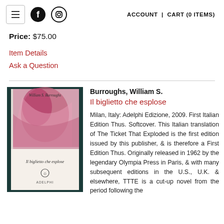≡  f  [instagram]    ACCOUNT  |  CART (0 ITEMS)
Price: $75.00
Item Details
Ask a Question
[Figure (photo): Book cover of 'Il biglietto che esplose' by William S. Burroughs, Adelphi Edizione edition, softcover with abstract pink/red cover art]
Burroughs, William S.
Il biglietto che esplose
Milan, Italy: Adelphi Edizione, 2009. First Italian Edition Thus. Softcover. This Italian translation of The Ticket That Exploded is the first edition issued by this publisher, & is therefore a First Edition Thus. Originally released in 1962 by the legendary Olympia Press in Paris, & with many subsequent editions in the U.S., U.K. & elsewhere, TTTE is a cut-up novel from the period following the